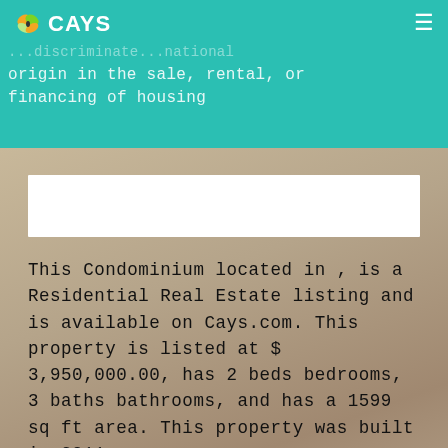CAYS
...origin in the sale, rental, or financing of housing
This Condominium located in , is a Residential Real Estate listing and is available on Cays.com. This property is listed at $ 3,950,000.00, has 2 beds bedrooms, 3 baths bathrooms, and has a 1599 sq ft area. This property was built in 2011.
LEARN MORE ABOUT THIS PROPERTY
Your Name
Your Email